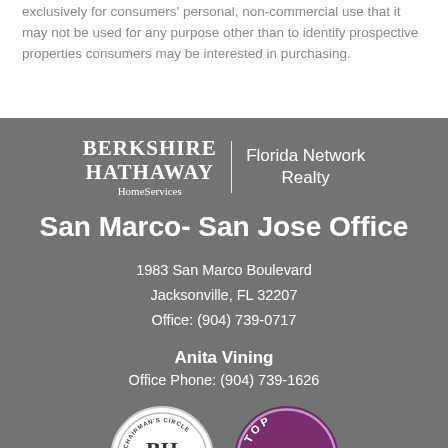exclusively for consumers' personal, non-commercial use that it may not be used for any purpose other than to identify prospective properties consumers may be interested in purchasing.
[Figure (logo): Berkshire Hathaway HomeServices | Florida Network Realty logo in white on gray background]
San Marco- San Jose Office
1983 San Marco Boulevard
Jacksonville, FL 32207
Office: (904) 739-0717
Anita Vining
Office Phone: (904) 739-1626
[Figure (logo): Chairman's Circle Berkshire Hathaway badge (circular, black and white)]
[Figure (logo): Top Half badge (circular, purple/maroon)]